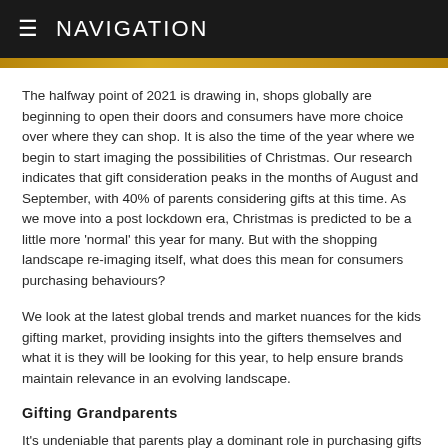≡ NAVIGATION
The halfway point of 2021 is drawing in, shops globally are beginning to open their doors and consumers have more choice over where they can shop. It is also the time of the year where we begin to start imaging the possibilities of Christmas. Our research indicates that gift consideration peaks in the months of August and September, with 40% of parents considering gifts at this time. As we move into a post lockdown era, Christmas is predicted to be a little more 'normal' this year for many. But with the shopping landscape re-imaging itself, what does this mean for consumers purchasing behaviours?
We look at the latest global trends and market nuances for the kids gifting market, providing insights into the gifters themselves and what it is they will be looking for this year, to help ensure brands maintain relevance in an evolving landscape.
Gifting Grandparents
It's undeniable that parents play a dominant role in purchasing gifts